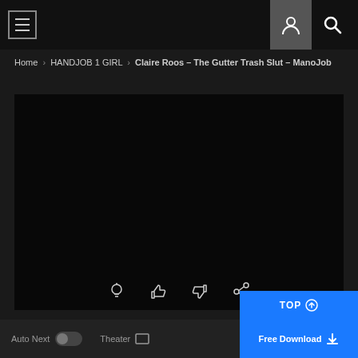Navigation header with hamburger menu, user icon, and search icon
Home > HANDJOB 1 GIRL > Claire Roos – The Gutter Trash Slut – ManoJob
[Figure (screenshot): Black video player area with icons: lightbulb, thumbs up, thumbs down, share]
Auto Next  Theater  Free Download  TOP